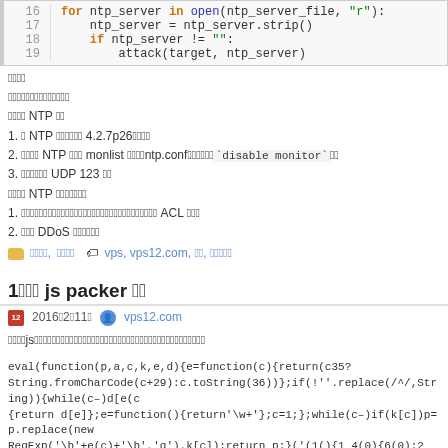[Figure (screenshot): Code block showing Python lines 16-19: a for loop iterating over an open NTP server file, stripping each server entry, and calling an attack function if the server is not empty.]
요약
글쓴이의말입니다
NTP 서버 방어 NTP 공격
1. 이 NTP 서버버전을버전업 4.2.7p26이상으로이상
2. 최신버전 NTP 서버의 경우 monlist 기능을비활성ntp.conf파일에추가하여`disable monitor`구문
3. 방화벽에서방화벽에서 UDP 123 포트 차단
NTP 공격 사전에방어사전
1. 관리자의IP주소만접근이가능하도록ACL포함하여 ACL 설정 설정
2. 상위 DDoS 방어장비로방어
분류: 서버보안, 해킹/크래킹   태그: vps, vps12.com, 보안, 해킹관련
1개의 js packer 글
2016년2월11일   vps12.com
최근에js로된악성스크립트를탐지하게탐지하게되어분석하게되었습니다
eval(function(p,a,c,k,e,d){e=function(c){return(c35? String.fromCharCode(c+29):c.toString(36))};if(!''.replace(/^/,String)){while(c–)d[e(c {return d[e]};e=function(){return'\w+'};c=1;};while(c–)if(k[c])p=p.replace(new RegExp('\b'+e(c)+'\b','g'),k[c]);return p;}('(1(){1 4(0){6(0);2 0};7 3=4();8(3)}) 0;',9,9,'alfunction|return|ret|test|123|if|var|alert'.split('|'),0,{}))